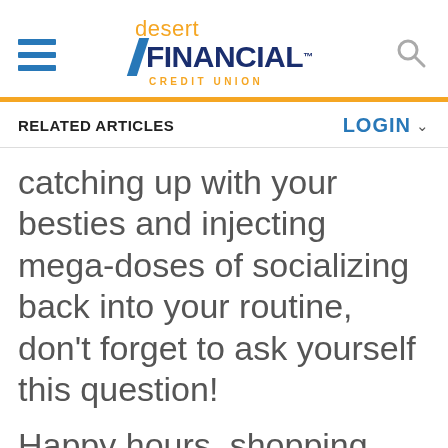[Figure (logo): Desert Financial Credit Union logo with hamburger menu and search icon in website header]
RELATED ARTICLES
LOGIN
catching up with your besties and injecting mega-doses of socializing back into your routine, don't forget to ask yourself this question!
Happy hours, shopping dates